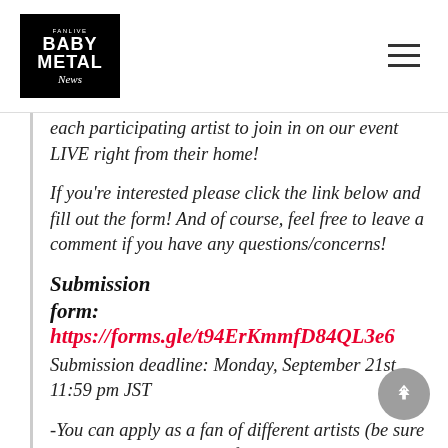Fanlive BABYMETAL News
each participating artist to join in on our event LIVE right from their home!
If you're interested please click the link below and fill out the form! And of course, feel free to leave a comment if you have any questions/concerns!
Submission form: https://forms.gle/t94ErKmmfD84QL3e6
Submission deadline: Monday, September 21st, 11:59 pm JST
-You can apply as a fan of different artists (be sure to add multiple answers for each artist depending on the question!)